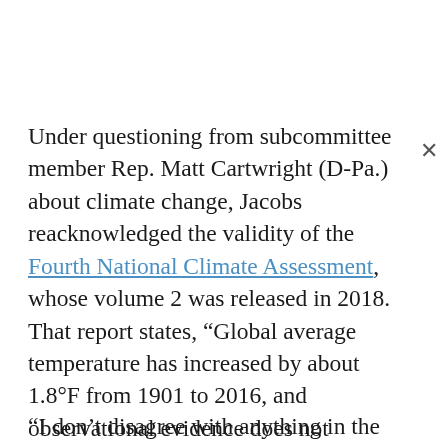Under questioning from subcommittee member Rep. Matt Cartwright (D-Pa.) about climate change, Jacobs reacknowledged the validity of the Fourth National Climate Assessment, whose volume 2 was released in 2018. That report states, “Global average temperature has increased by about 1.8°F from 1901 to 2016, and observational evidence does not support any credible natural explanations for this amount of warming; instead, the evidence consistently points to human activities, especially emissions of greenhouse or heat-trapping gases, as the dominant cause.”
“I don’t disagree with anything in the national